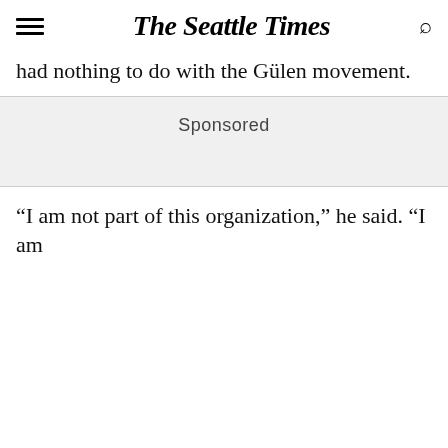The Seattle Times
had nothing to do with the Gülen movement.
Sponsored
“I am not part of this organization,” he said. “I am
[Figure (screenshot): Modal popup overlay on The Seattle Times website with dark background. Contains The Seattle Times logo in white, a close (X) button, headline 'Sign up for Breaking News.' with 'Breaking News' in blue, subtext 'Be among the first to know about coronavirus updates and other breaking news.', and a Facebook signup button at the bottom partially visible.]